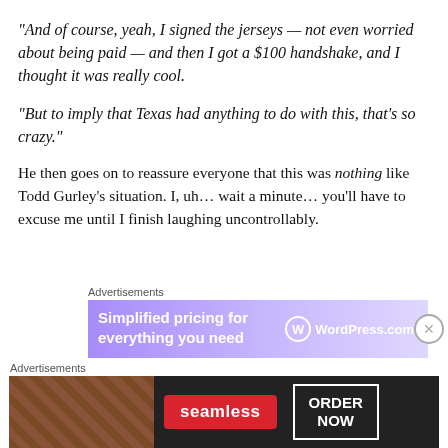“And of course, yeah, I signed the jerseys — not even worried about being paid — and then I got a $100 handshake, and I thought it was really cool.
“But to imply that Texas had anything to do with this, that’s so crazy.”
He then goes on to reassure everyone that this was nothing like Todd Gurley’s situation. I, uh… wait a minute… you’ll have to excuse me until I finish laughing uncontrollably.
[Figure (screenshot): WordPress.com advertisement banner: purple gradient background with text 'Simplified pricing for everything you need' and WordPress.com logo]
[Figure (screenshot): Seamless food delivery advertisement: dark background with pizza image, red Seamless logo pill, and 'ORDER NOW' button outline]